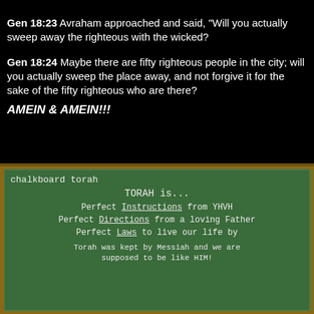Gen 18:23  Avraham approached and said, "Will you actually sweep away the righteous with the wicked?
Gen 18:24  Maybe there are fifty righteous people in the city; will you actually sweep the place away, and not forgive it for the sake of the fifty righteous who are there?
AMEIN & AMEIN!!!
[Figure (photo): A green chalkboard with white chalk handwriting that reads: 'chalkboard torah', 'TORAH is...', 'Perfect Instructions from YHVH', 'Perfect Directions from a loving Father', 'Perfect Laws to live our life by', 'Torah was kept by Messiah and we are supposed to be like HIM!']